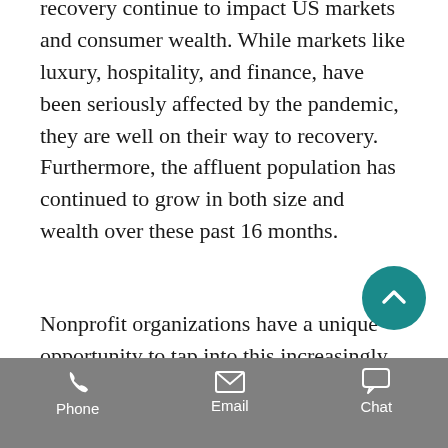recovery continue to impact US markets and consumer wealth. While markets like luxury, hospitality, and finance, have been seriously affected by the pandemic, they are well on their way to recovery. Furthermore, the affluent population has continued to grow in both size and wealth over these past 16 months.
Nonprofit organizations have a unique opportunity to tap into this increasingly wealthy population, but we've demonstrated that wealth fluctuates not just across time but also across regions. It's critical to implement a true data-driven engagement framework to
can maximize your fundraising
Phone   Email   Chat